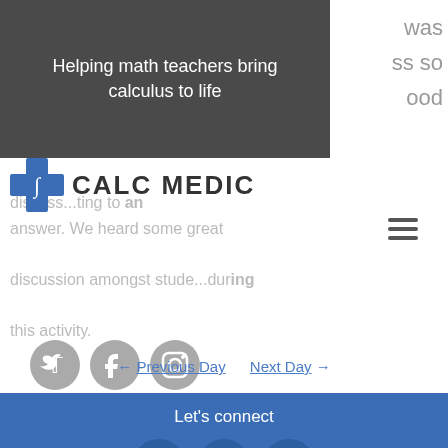Helping math teachers bring calculus to life
was
ss so
ood
[Figure (logo): Calc Medic logo with blue cross/integral icon and text CALC MEDIC]
[Figure (other): Hamburger menu icon (three horizontal lines)]
discuss...ting to an answer. We heard some great discussion amongst stude...during this activity.
[Figure (other): Three gray social media icons: Twitter, Facebook, Instagram]
← Previous Day    Next Day →
Let's connect
[Figure (other): Three white social media icons on blue background: Twitter, Facebook, Instagram]
All lesson plans are under this license from the Creative Commons
Terms of Use • Privacy Policy
Copyright © 2021 Calc Medic